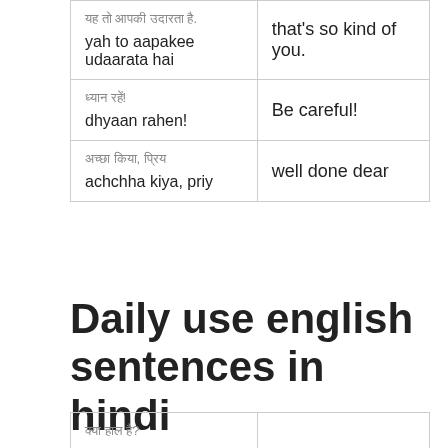| यह तो आपकी उदारता है.
yah to aapakee udaarata hai | that's so kind of you. |
| ध्यान रहें!
dhyaan rahen! | Be careful! |
| अच्छा किया, प्रिय
achchha kiya, priy | well done dear |
Daily use english sentences in hindi
| क्या हाल है? |  |